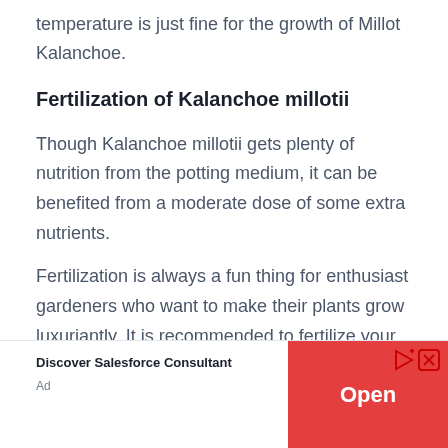temperature is just fine for the growth of Millot Kalanchoe.
Fertilization of Kalanchoe millotii
Though Kalanchoe millotii gets plenty of nutrition from the potting medium, it can be benefited from a moderate dose of some extra nutrients.
Fertilization is always a fun thing for enthusiast gardeners who want to make their plants grow luxuriantly. It is recommended to fertilize your
[Figure (other): Advertisement banner: Discover Salesforce Consultant with an Open button on red background, with play and close icons.]